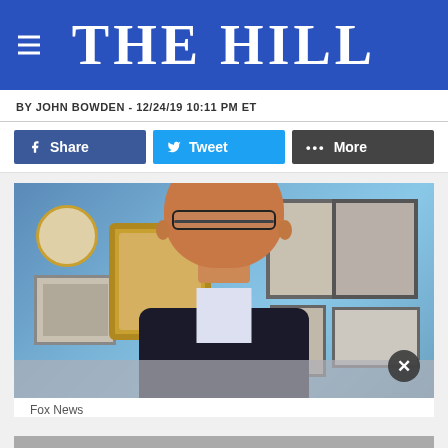THE HILL
BY JOHN BOWDEN - 12/24/19 10:11 PM ET
[Figure (photo): Man smiling in front of blue wall with framed pictures, appears on Fox News video screenshot]
Fox News